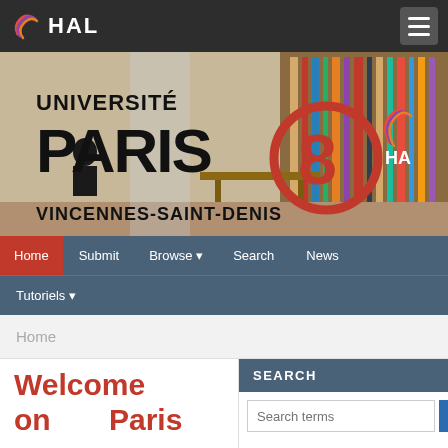HAL
[Figure (photo): Library interior photo with Université Paris 8 Vincennes-Saint-Denis branding and HAL logo overlay]
Home
Submit
Browse
Search
News
Tutoriels
Home
Welcome on Paris
SEARCH
Search terms